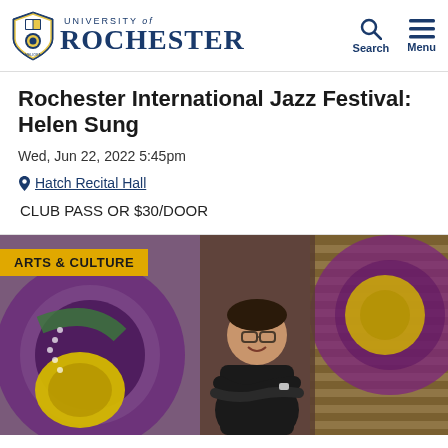UNIVERSITY of ROCHESTER
Rochester International Jazz Festival: Helen Sung
Wed, Jun 22, 2022 5:45pm
Hatch Recital Hall
CLUB PASS OR $30/DOOR
[Figure (photo): A smiling man with glasses and crossed arms standing in front of a colorful mural with purple and yellow circular shapes, with an ARTS & CULTURE badge overlay]